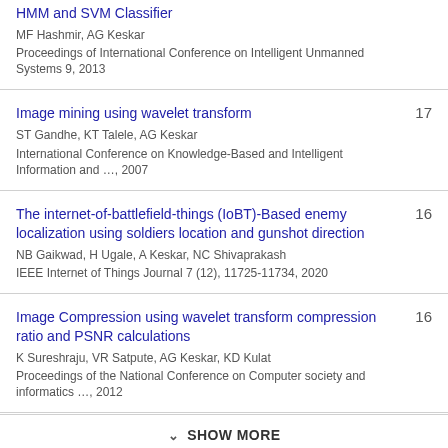HMM and SVM Classifier
MF Hashmir, AG Keskar
Proceedings of International Conference on Intelligent Unmanned Systems 9, 2013
Image mining using wavelet transform
ST Gandhe, KT Talele, AG Keskar
International Conference on Knowledge-Based and Intelligent Information and …, 2007
17
The internet-of-battlefield-things (IoBT)-Based enemy localization using soldiers location and gunshot direction
NB Gaikwad, H Ugale, A Keskar, NC Shivaprakash
IEEE Internet of Things Journal 7 (12), 11725-11734, 2020
16
Image Compression using wavelet transform compression ratio and PSNR calculations
K Sureshraju, VR Satpute, AG Keskar, KD Kulat
Proceedings of the National Conference on Computer society and informatics …, 2012
16
SHOW MORE